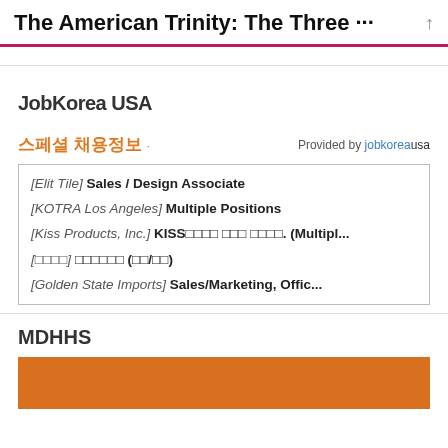The American Trinity: The Three ···
JobKorea USA
스페셜 채용정보 · Provided by jobkoreausa
[Elit Tile] Sales / Design Associate
[KOTRA Los Angeles] Multiple Positions
[Kiss Products, Inc.] KISS□□□□ □□□ □□□□. (Multipl...
[□□□□] □□□□□□ (□□/□□)
[Golden State Imports] Sales/Marketing, Offic...
MDHHS